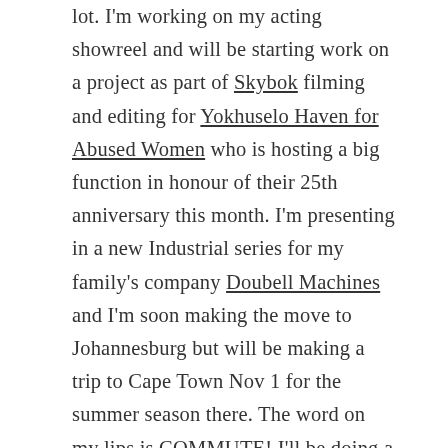lot. I'm working on my acting showreel and will be starting work on a project as part of Skybok filming and editing for Yokhuselo Haven for Abused Women who is hosting a big function in honour of their 25th anniversary this month. I'm presenting in a new Industrial series for my family's company Doubell Machines and I'm soon making the move to Johannesburg but will be making a trip to Cape Town Nov 1 for the summer season there. The word on my lips is COMMUTE! I'll be doing a lot of that in the time to come. Good thing I just bought a new cabin bag 😉 Acting-wise, there's usually a great deal of castings and auditions up in Cape Town during these next 2 months of the year, so I'm excited for that. In the midst of all this, I've discovered a coffee shop in Port Elizabeth called La Boca. When I went the other day I had a pot of Rooibos tea (a true South African